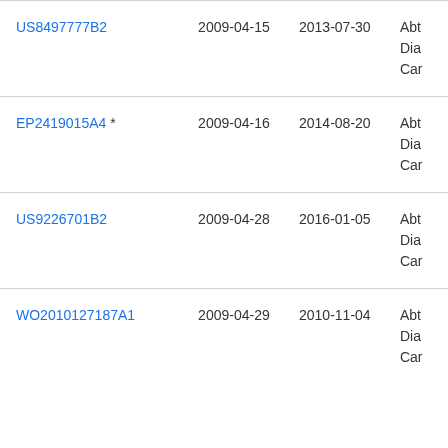| Patent | Filed | Published | Assignee |
| --- | --- | --- | --- |
| US8497777B2 | 2009-04-15 | 2013-07-30 | Abt Dia Car |
| EP2419015A4 * | 2009-04-16 | 2014-08-20 | Abt Dia Car |
| US9226701B2 | 2009-04-28 | 2016-01-05 | Abt Dia Car |
| WO2010127187A1 | 2009-04-29 | 2010-11-04 | Abt Dia Car |
| US8483967B2 | 2009-04-29 | 2013-07-09 | Abt Dia Car |